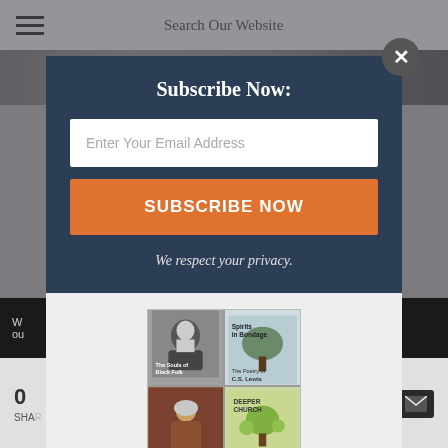Search Our Website
[Figure (screenshot): Website popup modal with subscribe form and free ebook offer over a dark overlay]
Subscribe Now:
Enter Your Email Address
SUBSCRIBE NOW
We respect your privacy.
[Figure (illustration): Grid of four book covers: The Souls of Black Folk, Spirits in Bondage by C.S. Lewis, Julian of Norwich, and Deeper Church]
FREE Ebook!
0 SHARES